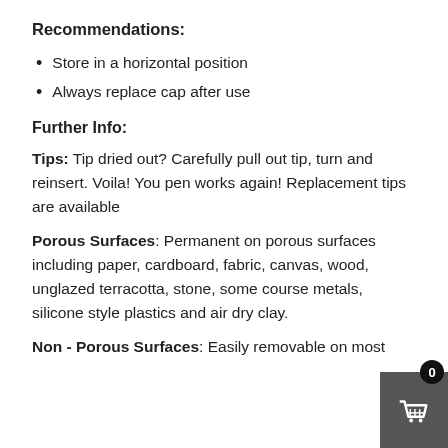Recommendations:
Store in a horizontal position
Always replace cap after use
Further Info:
Tips: Tip dried out? Carefully pull out tip, turn and reinsert. Voila! You pen works again! Replacement tips are available
Porous Surfaces: Permanent on porous surfaces including paper, cardboard, fabric, canvas, wood, unglazed terracotta, stone, some course metals, silicone style plastics and air dry clay.
Non - Porous Surfaces: Easily removable on most